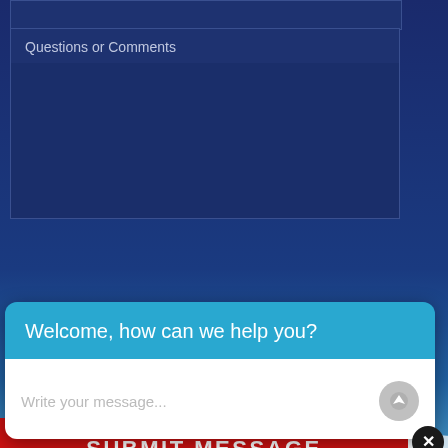[Figure (screenshot): Web contact form with 'Questions or Comments' textarea field on dark navy background]
Questions or Comments
[Figure (screenshot): Google reCAPTCHA widget with checkbox labeled 'I'm not a robot']
I'm not a robot
reCAPTCHA
Privacy · Terms
SUBMIT MESSAGE
Welcome, how can we help you?
Write your message...